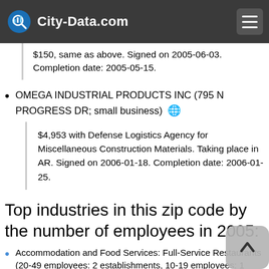City-Data.com
$150, same as above. Signed on 2005-06-03. Completion date: 2005-05-15.
OMEGA INDUSTRIAL PRODUCTS INC (795 N PROGRESS DR; small business)
$4,953 with Defense Logistics Agency for Miscellaneous Construction Materials. Taking place in AR. Signed on 2006-01-18. Completion date: 2006-01-25.
Top industries in this zip code by the number of employees in 2005:
Accommodation and Food Services: Full-Service Restaurants (20-49 employees: 2 establishments, 10-19 employees: 1 establishment, 5-9 employees: 1